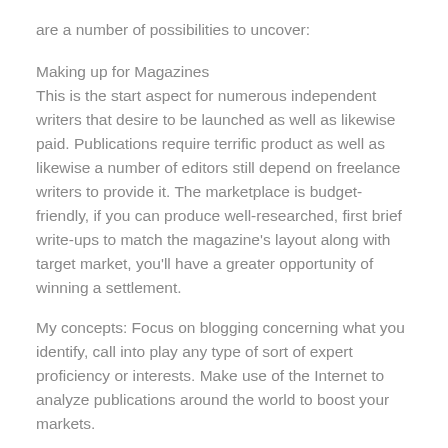are a number of possibilities to uncover:
Making up for Magazines
This is the start aspect for numerous independent writers that desire to be launched as well as likewise paid. Publications require terrific product as well as likewise a number of editors still depend on freelance writers to provide it. The marketplace is budget-friendly, if you can produce well-researched, first brief write-ups to match the magazine’s layout along with target market, you’ll have a greater opportunity of winning a settlement.
My concepts: Focus on blogging concerning what you identify, call into play any type of sort of expert proficiency or interests. Make use of the Internet to analyze publications around the world to boost your markets.
Develop Greetings Card Verses